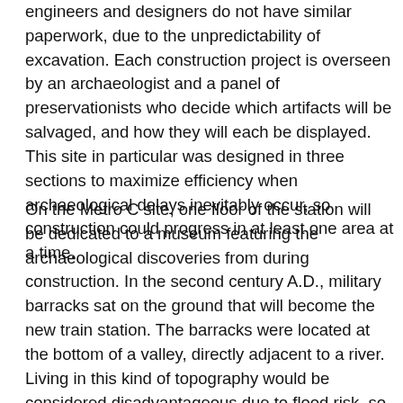engineers and designers do not have similar paperwork, due to the unpredictability of excavation. Each construction project is overseen by an archaeologist and a panel of preservationists who decide which artifacts will be salvaged, and how they will each be displayed. This site in particular was designed in three sections to maximize efficiency when archaeological delays inevitably occur, so construction could progress in at least one area at a time.
On the Metro C site, one floor of the station will be dedicated to a museum featuring the archaeological discoveries from during construction. In the second century A.D., military barracks sat on the ground that will become the new train station. The barracks were located at the bottom of a valley, directly adjacent to a river. Living in this kind of topography would be considered disadvantageous due to flood risk, so the findings of developed dwellings came as a surprise to the archaeologists. Heavy design modifications were created to account for the unexpected discoveries that would be there, so the construction and that